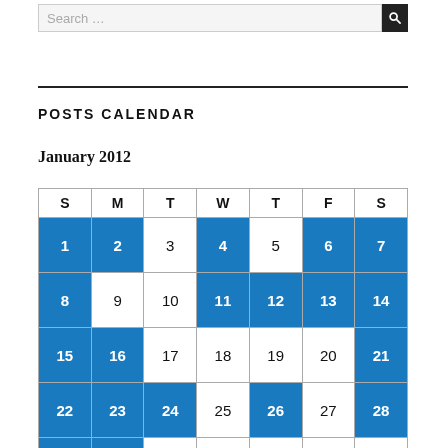Search …
POSTS CALENDAR
January 2012
| S | M | T | W | T | F | S |
| --- | --- | --- | --- | --- | --- | --- |
| 1 | 2 | 3 | 4 | 5 | 6 | 7 |
| 8 | 9 | 10 | 11 | 12 | 13 | 14 |
| 15 | 16 | 17 | 18 | 19 | 20 | 21 |
| 22 | 23 | 24 | 25 | 26 | 27 | 28 |
| 29 | 30 | 31 |  |  |  |  |